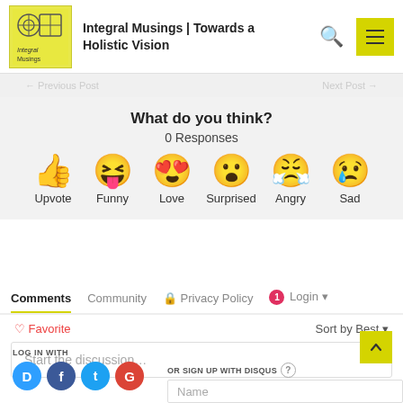Integral Musings | Towards a Holistic Vision
What do you think?
0 Responses
[Figure (infographic): Six emoji reaction buttons: Upvote (thumbs up), Funny (laughing face with tongue), Love (heart-eyes face), Surprised (surprised face), Angry (crying-rage face), Sad (crying face)]
Comments | Community | Privacy Policy | Login
Favorite | Sort by Best
Start the discussion…
LOG IN WITH
OR SIGN UP WITH DISQUS
Name